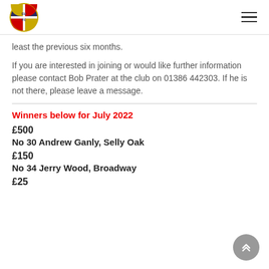least the previous six months.
If you are interested in joining or would like further information please contact Bob Prater at the club on 01386 442303.  If he is not there, please leave a message.
Winners below for July 2022
£500
No 30 Andrew Ganly, Selly Oak
£150
No 34 Jerry Wood, Broadway
£25